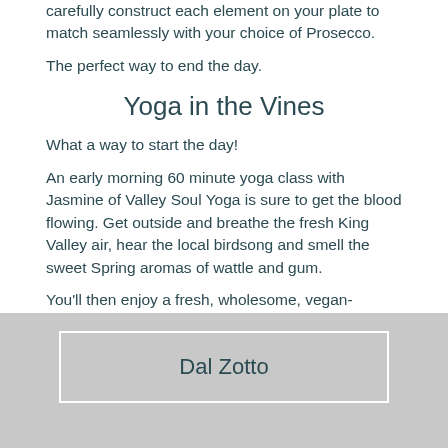carefully construct each element on your plate to match seamlessly with your choice of Prosecco.
The perfect way to end the day.
Yoga in the Vines
What a way to start the day!
An early morning 60 minute yoga class with Jasmine of Valley Soul Yoga is sure to get the blood flowing. Get outside and breathe the fresh King Valley air, hear the local birdsong and smell the sweet Spring aromas of wattle and gum.
You'll then enjoy a fresh, wholesome, vegan-friendly breakfast by the orchard and a crisp glass of Prosecco (for all your hard work!)
[Figure (other): Grey banner area with a white-bordered button labeled Dal Zotto]